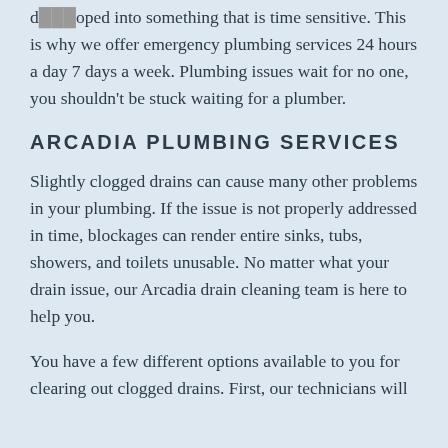d…oped into something that is time sensitive. This is why we offer emergency plumbing services 24 hours a day 7 days a week. Plumbing issues wait for no one, you shouldn't be stuck waiting for a plumber.
ARCADIA PLUMBING SERVICES
Slightly clogged drains can cause many other problems in your plumbing. If the issue is not properly addressed in time, blockages can render entire sinks, tubs, showers, and toilets unusable. No matter what your drain issue, our Arcadia drain cleaning team is here to help you.
You have a few different options available to you for clearing out clogged drains. First, our technicians will